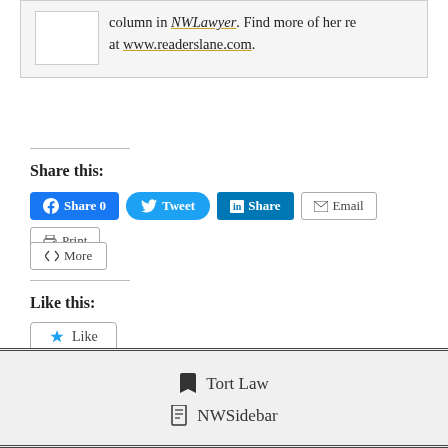column in NWLawyer. Find more of her re at www.readerslane.com.
Share this:
Facebook Share 0 | Twitter Tweet | LinkedIn Share | Email | Print | More
Like this:
Like
Be the first to like this.
Tort Law
NWSidebar